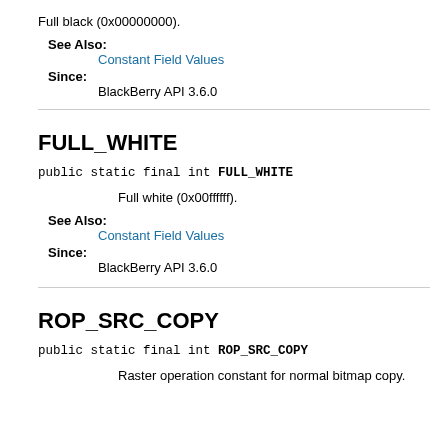Full black (0x00000000).
See Also:
Constant Field Values
Since:
BlackBerry API 3.6.0
FULL_WHITE
public static final int FULL_WHITE
Full white (0x00ffffff).
See Also:
Constant Field Values
Since:
BlackBerry API 3.6.0
ROP_SRC_COPY
public static final int ROP_SRC_COPY
Raster operation constant for normal bitmap copy.